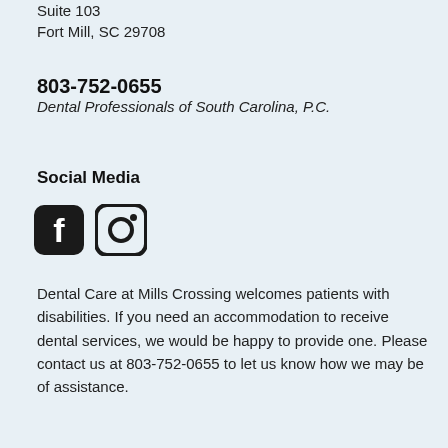Suite 103
Fort Mill, SC 29708
803-752-0655
Dental Professionals of South Carolina, P.C.
Social Media
[Figure (illustration): Facebook and Instagram social media icons]
Dental Care at Mills Crossing welcomes patients with disabilities. If you need an accommodation to receive dental services, we would be happy to provide one. Please contact us at 803-752-0655 to let us know how we may be of assistance.